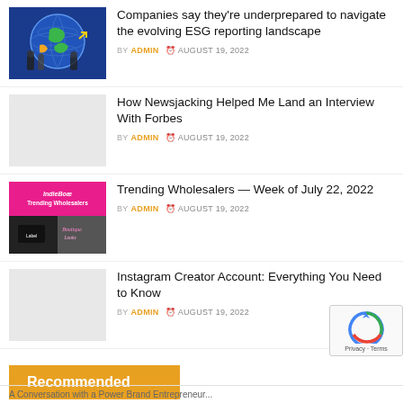Companies say they're underprepared to navigate the evolving ESG reporting landscape — BY ADMIN © AUGUST 19, 2022
How Newsjacking Helped Me Land an Interview With Forbes — BY ADMIN © AUGUST 19, 2022
Trending Wholesalers — Week of July 22, 2022 — BY ADMIN © AUGUST 19, 2022
Instagram Creator Account: Everything You Need to Know — BY ADMIN © AUGUST 19, 2022
Recommended